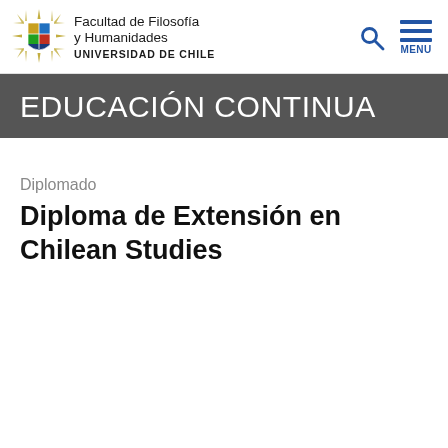[Figure (logo): Facultad de Filosofía y Humanidades, Universidad de Chile logo with emblem and text]
Facultad de Filosofía y Humanidades UNIVERSIDAD DE CHILE
EDUCACIÓN CONTINUA
Diplomado
Diploma de Extensión en Chilean Studies